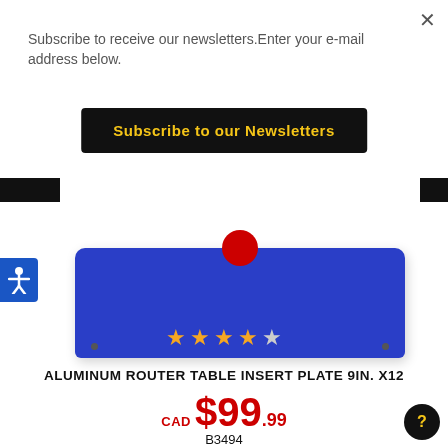Subscribe to receive our newsletters.Enter your e-mail address below.
Subscribe to our Newsletters
[Figure (photo): Blue aluminum router table insert plate with red center element, viewed from above against a black and white background]
[Figure (other): Accessibility icon button (person with arms outstretched on blue background)]
★★★★
ALUMINUM ROUTER TABLE INSERT PLATE 9IN. X12
CAD $99.99
B3494